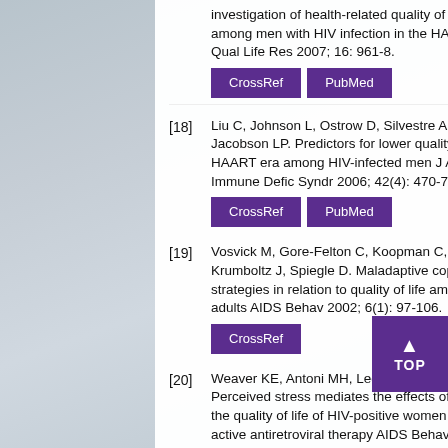investigation of health-related quality of life among men with HIV infection in the HAART Qual Life Res 2007; 16: 961-8.
[18] Liu C, Johnson L, Ostrow D, Silvestre A, Vis Jacobson LP. Predictors for lower quality of HAART era among HIV-infected men J Acqu Immune Defic Syndr 2006; 42(4): 470-7.
[19] Vosvick M, Gore-Felton C, Koopman C, Tho Krumboltz J, Spiegle D. Maladaptive coping strategies in relation to quality of life among adults AIDS Behav 2002; 6(1): 97-106.
[20] Weaver KE, Antoni MH, Lechner SC, et al. Perceived stress mediates the effects of cop the quality of life of HIV-positive women on h active antiretroviral therapy AIDS Behav 200 175-83.
[21] Kemppainen JK. Predictors of quality of life Assoc Nurses AIDS Care 2001; 12(1): 61-70